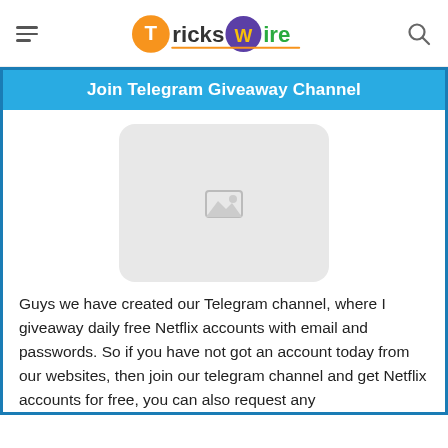TricksWire
Join Telegram Giveaway Channel
[Figure (other): Placeholder image with broken image icon, rounded rectangle, light gray background]
Guys we have created our Telegram channel, where I giveaway daily free Netflix accounts with email and passwords. So if you have not got an account today from our websites, then join our telegram channel and get Netflix accounts for free, you can also request any